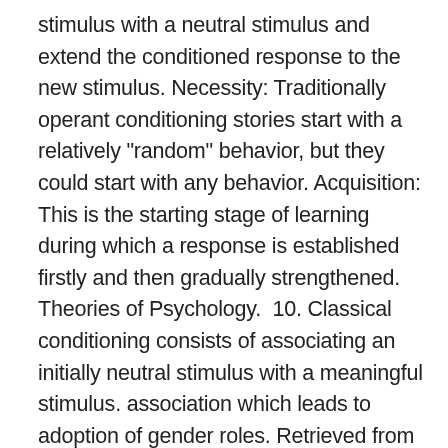stimulus with a neutral stimulus and extend the conditioned response to the new stimulus. Necessity: Traditionally operant conditioning stories start with a relatively "random" behavior, but they could start with any behavior. Acquisition: This is the starting stage of learning during which a response is established firstly and then gradually strengthened. Theories of Psychology. 10. Classical conditioning consists of associating an initially neutral stimulus with a meaningful stimulus. association which leads to adoption of gender roles. Retrieved from :-of-development Turcios, E. (2016, February 22). McSweeney and Murphy: The Wiley